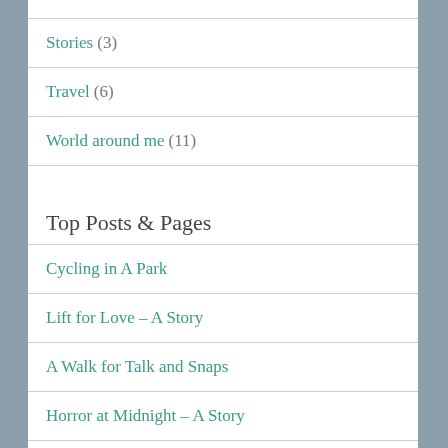Stories (3)
Travel (6)
World around me (11)
Top Posts & Pages
Cycling in A Park
Lift for Love - A Story
A Walk for Talk and Snaps
Horror at Midnight - A Story
When Two Crows Chat - Humour